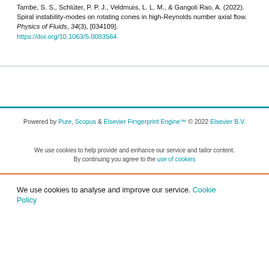Tambe, S. S., Schlüter, P. P. J., Veldmuis, L. L. M., & Gangoli Rao, A. (2022). Spiral instability-modes on rotating cones in high-Reynolds number axial flow. Physics of Fluids, 34(3), [034109]. https://doi.org/10.1063/5.0083564
Powered by Pure, Scopus & Elsevier Fingerprint Engine™ © 2022 Elsevier B.V.
We use cookies to help provide and enhance our service and tailor content. By continuing you agree to the use of cookies
We use cookies to analyse and improve our service. Cookie Policy
Cookies Settings
Accept All Cookies